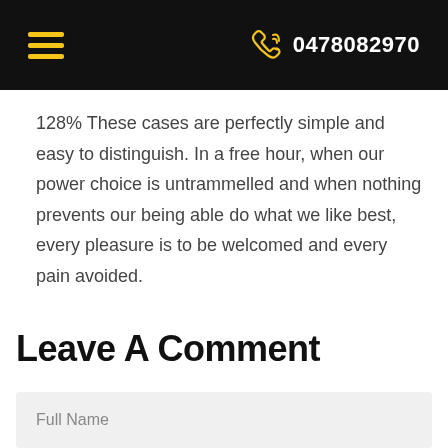0478082970
128% These cases are perfectly simple and easy to distinguish. In a free hour, when our power choice is untrammelled and when nothing prevents our being able do what we like best, every pleasure is to be welcomed and every pain avoided.
Leave A Comment
Full Name